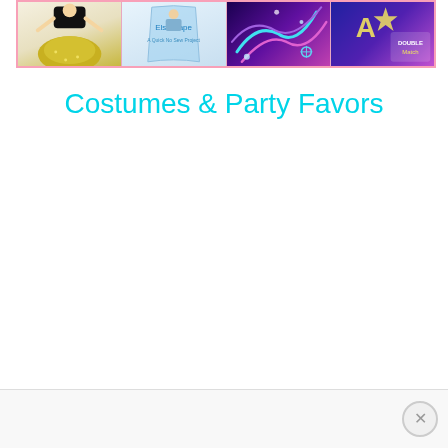[Figure (photo): Horizontal banner with four image panels showing Frozen/Disney themed items: a girl in Anna costume (yellow/green dress), a sewing/craft project panel, a Frozen swirl pattern panel, and a Frozen double match card game panel. Bordered with pink border.]
Costumes & Party Favors